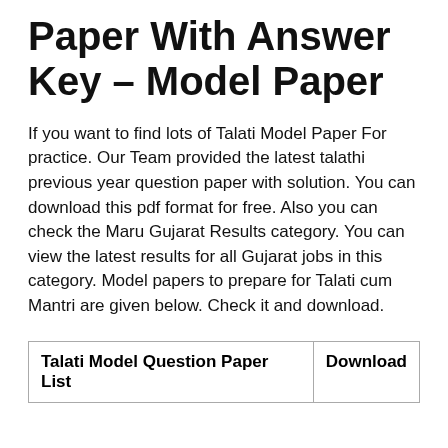Paper With Answer Key – Model Paper
If you want to find lots of Talati Model Paper For practice. Our Team provided the latest talathi previous year question paper with solution. You can download this pdf format for free. Also you can check the Maru Gujarat Results category. You can view the latest results for all Gujarat jobs in this category. Model papers to prepare for Talati cum Mantri are given below. Check it and download.
| Talati Model Question Paper List | Download |
| --- | --- |